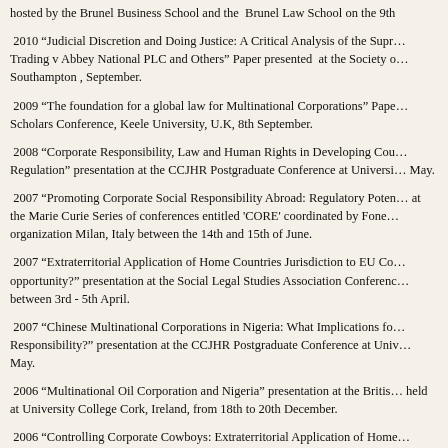hosted by the Brunel Business School and the Brunel Law School on the 9th
2010 “Judicial Discretion and Doing Justice: A Critical Analysis of the Supreme Court Decision in Office of Fair Trading v Abbey National PLC and Others” Paper presented at the Society of Legal Scholars Annual Conference, Southampton , September.
2009 “The foundation for a global law for Multinational Corporations” Paper presented at the Society of Legal Scholars Conference, Keele University, U.K, 8th September.
2008 “Corporate Responsibility, Law and Human Rights in Developing Countries: The Case for International Regulation” presentation at the CCJHR Postgraduate Conference at University College Cork, Ireland, May.
2007 “Promoting Corporate Social Responsibility Abroad: Regulatory Potential and Limits” Paper presented at the Marie Curie Series of conferences entitled 'CORE' coordinated by Fondazione Cariplo a Non-Profit organization Milan, Italy between the 14th and 15th of June.
2007 “Extraterritorial Application of Home Countries Jurisdiction to EU Corporations: A missed opportunity?” presentation at the Social Legal Studies Association Conference held at University of Edinburgh between 3rd - 5th April.
2007 “Chinese Multinational Corporations in Nigeria: What Implications for Corporate Social Responsibility?” presentation at the CCJHR Postgraduate Conference at University College Cork, Ireland, May.
2006 “Multinational Oil Corporation and Nigeria” presentation at the British Legal Research Conference held at University College Cork, Ireland, from 18th to 20th December.
2006 “Controlling Corporate Cowboys: Extraterritorial Application of Home Countries Jurisdiction to Corporations Abroad” presented at the University College Dublin Legal Research